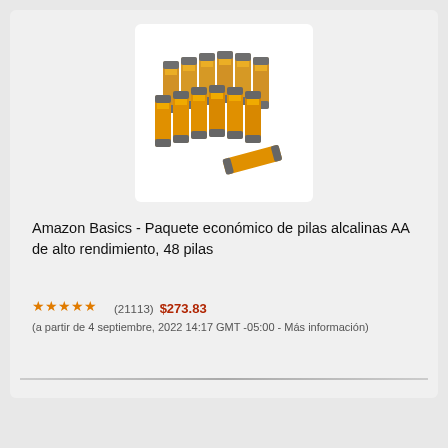[Figure (photo): Amazon Basics AA batteries stacked in a group, orange and grey colored batteries]
Amazon Basics - Paquete económico de pilas alcalinas AA de alto rendimiento, 48 pilas
★★★★★ (21113) $273.83 (a partir de 4 septiembre, 2022 14:17 GMT -05:00 - Más información)